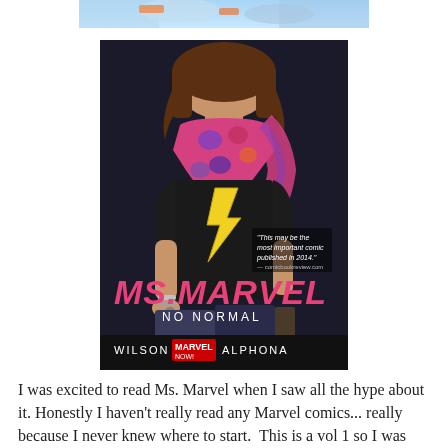[Figure (photo): Partial comic book cover strip at the top showing a colorful scene with blue sky, cropped at the bottom.]
[Figure (illustration): Ms. Marvel: No Normal comic book cover showing a teenage girl with brown hair wearing a colorful scarf and black t-shirt with a yellow lightning bolt. Text reads 'Ms. Marvel No Normal, Wilson, Marvel Now!, Alphona'. A quote reads 'This may be the most important comic published in 2014.']
I was excited to read Ms. Marvel when I saw all the hype about it. Honestly I haven't really read any Marvel comics... really because I never knew where to start.  This is a vol 1 so I was able to start somewhere. I did enjoy it. I really liked